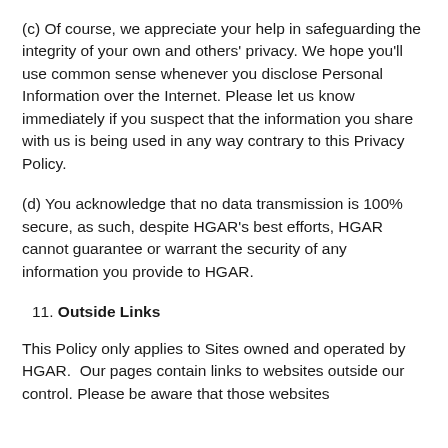(c) Of course, we appreciate your help in safeguarding the integrity of your own and others' privacy. We hope you'll use common sense whenever you disclose Personal Information over the Internet. Please let us know immediately if you suspect that the information you share with us is being used in any way contrary to this Privacy Policy.
(d) You acknowledge that no data transmission is 100% secure, as such, despite HGAR's best efforts, HGAR cannot guarantee or warrant the security of any information you provide to HGAR.
11. Outside Links
This Policy only applies to Sites owned and operated by HGAR.  Our pages contain links to websites outside our control. Please be aware that those websites...